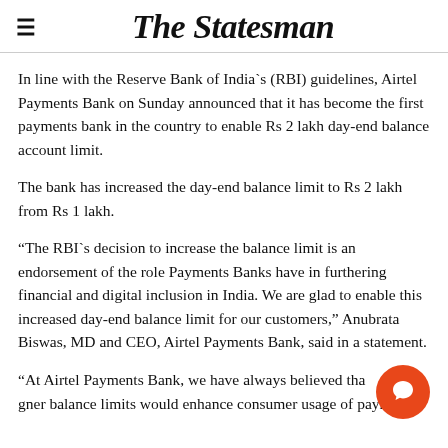The Statesman
In line with the Reserve Bank of India`s (RBI) guidelines, Airtel Payments Bank on Sunday announced that it has become the first payments bank in the country to enable Rs 2 lakh day-end balance account limit.
The bank has increased the day-end balance limit to Rs 2 lakh from Rs 1 lakh.
“The RBI`s decision to increase the balance limit is an endorsement of the role Payments Banks have in furthering financial and digital inclusion in India. We are glad to enable this increased day-end balance limit for our customers,” Anubrata Biswas, MD and CEO, Airtel Payments Bank, said in a statement.
“At Airtel Payments Bank, we have always believed that higher balance limits would enhance consumer usage of payments